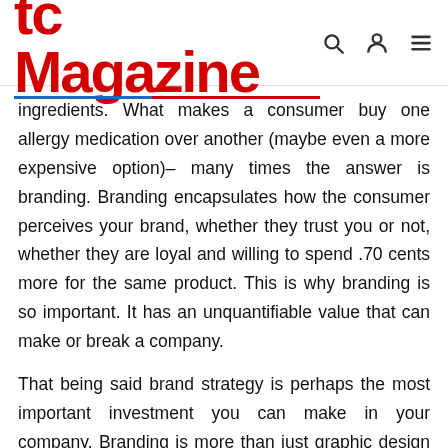tc Magazine
ingredients. What makes a consumer buy one allergy medication over another (maybe even a more expensive option)– many times the answer is branding. Branding encapsulates how the consumer perceives your brand, whether they trust you or not, whether they are loyal and willing to spend .70 cents more for the same product. This is why branding is so important. It has an unquantifiable value that can make or break a company.
That being said brand strategy is perhaps the most important investment you can make in your company. Branding is more than just graphic design it's about shaping the way your customers see you. The most difficult thing, and the most powerful thing, is to communicate precisely what you do and why it matters. At